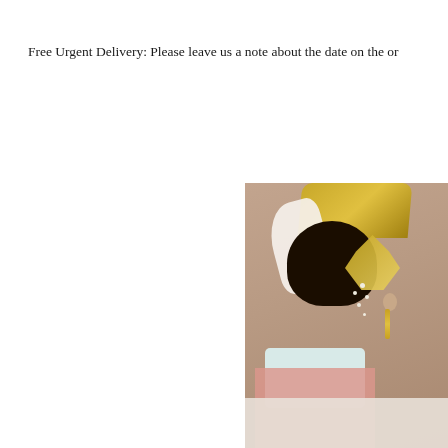Free Urgent Delivery: Please leave us a note about the date on the or
[Figure (photo): Photo of a person from behind showing an elaborate black hair updo adorned with gold hair ornaments and pearl accessories, wearing traditional East Asian attire with a light blue collar and pink/white garments. A gold hat piece and white wavy ribbon are visible at the top. The background is a warm brownish-tan color.]